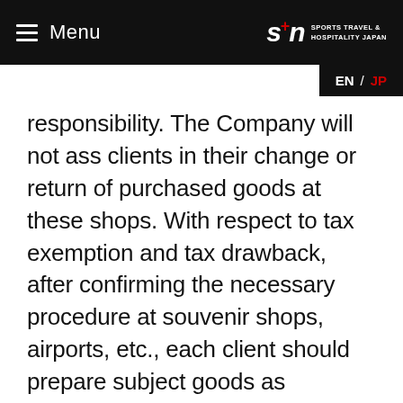Menu | SPORTS TRAVEL & HOSPITALITY JAPAN | EN / JP
responsibility. The Company will not assist clients in their change or return of purchased goods at these shops. With respect to tax exemption and tax drawback, after confirming the necessary procedure at souvenir shops, airports, etc., each client should prepare subject goods as personal luggage and perform the relevant procedure by his/her own responsibility. Please beware of items which are prohibited to be brought in Japan under the Washington Treaty and domestic laws and regulations. Even if the client fails to perform the procedure for tax